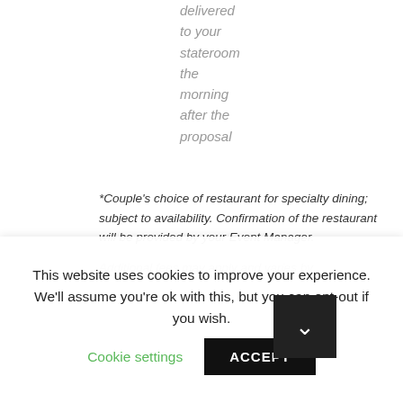delivered to your stateroom the morning after the proposal
*Couple's choice of restaurant for specialty dining; subject to availability. Confirmation of the restaurant will be provided by your Event Manager.
Additional fees may apply and varies by...
This website uses cookies to improve your experience. We'll assume you're ok with this, but you can opt-out if you wish. Cookie settings ACCEPT